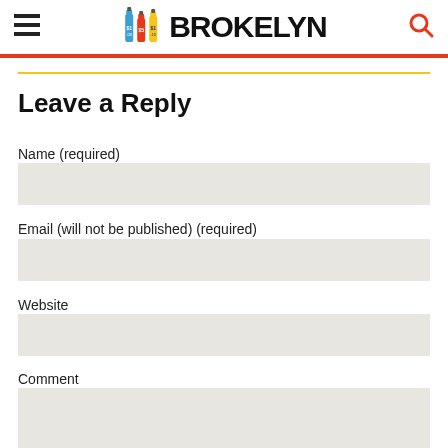BROKELYN
Leave a Reply
Name (required)
Email (will not be published) (required)
Website
Comment